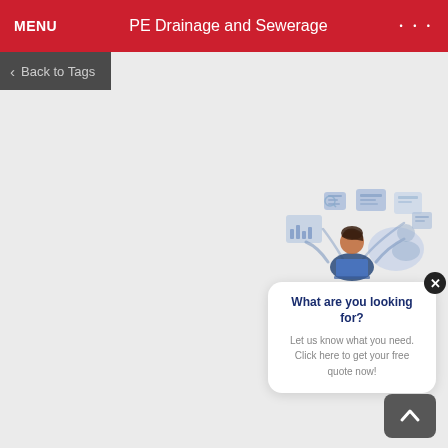MENU   PE Drainage and Sewerage   ...
< Back to Tags
[Figure (illustration): Illustration of a person at a laptop surrounded by floating UI/document icons and another figure in the background, rendered in blue tones]
What are you looking for? Let us know what you need. Click here to get your free quote now!